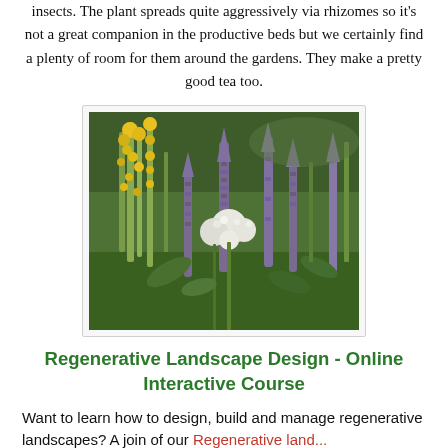insects. The plant spreads quite aggressively via rhizomes so it's not a great companion in the productive beds but we certainly find a plenty of room for them around the gardens. They make a pretty good tea too.
[Figure (photo): Outdoor garden photo showing tall purple flower spikes and yellow flowering plants among green foliage]
Regenerative Landscape Design - Online Interactive Course
Want to learn how to design, build and manage regenerative landscapes? A join of our Regenerative Landscape...